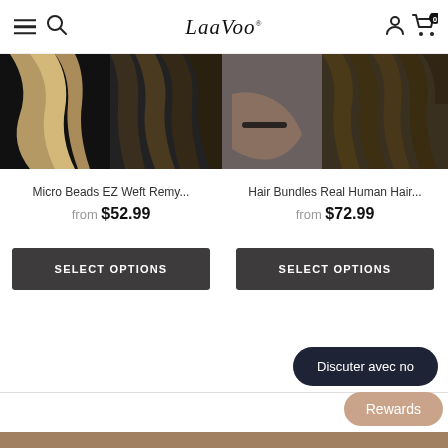LaaVoo
[Figure (photo): Product image of Micro Beads EZ Weft Remy hair extensions showing hair from back/side]
Micro Beads EZ Weft Remy...
from $52.99
SELECT OPTIONS
[Figure (photo): Product image of Hair Bundles Real Human Hair showing hair and person's arm with bracelet]
Hair Bundles Real Human Hair...
from $72.99
SELECT OPTIONS
Discuter avec no
Rewards